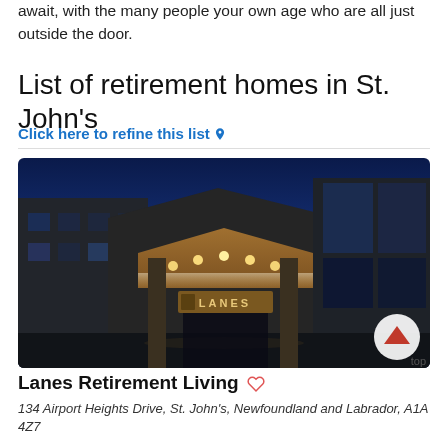await, with the many people your own age who are all just outside the door.
List of retirement homes in St. John's
Click here to refine this list 📍
[Figure (photo): Exterior night photo of Lanes Retirement Living building with illuminated entrance canopy and LANES sign]
Lanes Retirement Living ♡
top
134 Airport Heights Drive, St. John's, Newfoundland and Labrador, A1A 4Z7